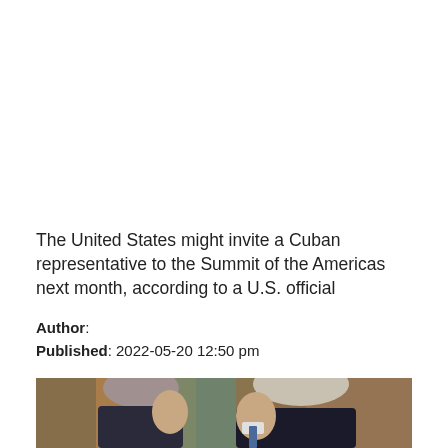The United States might invite a Cuban representative to the Summit of the Americas next month, according to a U.S. official
Author:
Published: 2022-05-20 12:50 pm
[Figure (photo): Two older men in suits facing each other in conversation, with a colorful mural or artwork visible in the background.]